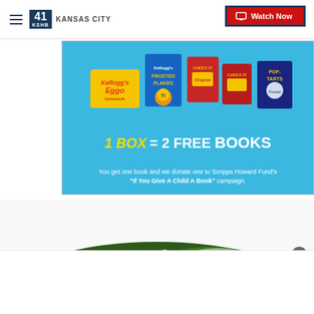41 KSHB KANSAS CITY | Watch Now
[Figure (infographic): Kellogg's product ad banner on blue background showing Eggo waffles, Frosted Flakes, Cheez-It, and Pop-Tarts boxes with Tony the Tiger mascot. Text: '1 BOX = 2 FREE BOOKS. You get one book and we donate one to Scripps Howard Fund's "If You Give A Child A Book" campaign.']
[Figure (photo): Christmas wreath with pine branches, pine cones, red berries, and warm string lights covered with a light dusting of snow/glitter.]